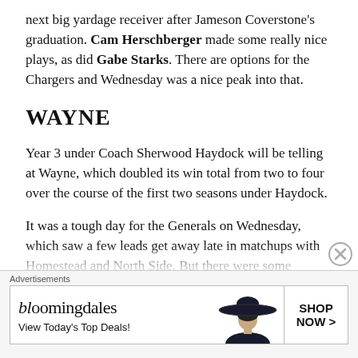next big yardage receiver after Jameson Coverstone's graduation. Cam Herschberger made some really nice plays, as did Gabe Starks. There are options for the Chargers and Wednesday was a nice peak into that.
WAYNE
Year 3 under Coach Sherwood Haydock will be telling at Wayne, which doubled its win total from two to four over the course of the first two seasons under Haydock.
It was a tough day for the Generals on Wednesday, which saw a few leads get away late in matchups with Homestead and North Side. But there were some positive signs, as quarterback Christian Trimble made some solid throws throughout the day. The fact that arguably Wayne's biggest offensive weapon — a 1,000-yard rusher
Advertisements
[Figure (other): Bloomingdale's advertisement banner: logo text 'bloomingdales', tagline 'View Today's Top Deals!', woman in wide-brim hat, 'SHOP NOW >' call-to-action button]